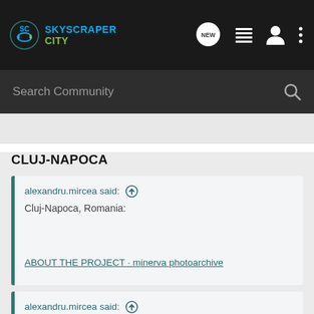SkyscraperCity
CLUJ-NAPOCA
alexandru.mircea said: ↑
Cluj-Napoca, Romania:
ABOUT THE PROJECT · minerva photoarchive
alexandru.mircea said: ↑
Pics from one of the most impressive commieblock districts of